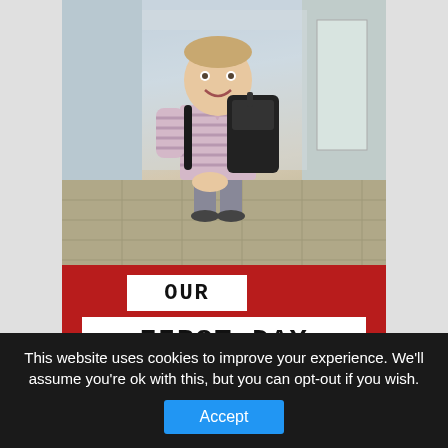[Figure (photo): Young boy wearing a striped polo shirt and black backpack, standing in a school hallway/corridor, smiling at the camera. Below him is a red background with white text boxes reading 'OUR FIRST DAY OF SCHOOL' in block letters.]
This website uses cookies to improve your experience. We'll assume you're ok with this, but you can opt-out if you wish.
Accept